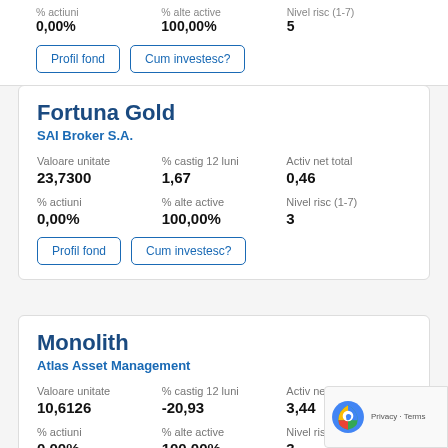0,00%
100,00%
5
Profil fond
Cum investesc?
Fortuna Gold
SAI Broker S.A.
| Valoare unitate | % castig 12 luni | Activ net total |
| --- | --- | --- |
| 23,7300 | 1,67 | 0,46 |
| % actiuni | % alte active | Nivel risc (1-7) |
| --- | --- | --- |
| 0,00% | 100,00% | 3 |
Profil fond
Cum investesc?
Monolith
Atlas Asset Management
| Valoare unitate | % castig 12 luni | Activ net total |
| --- | --- | --- |
| 10,6126 | -20,93 | 3,44 |
| % actiuni | % alte active | Nivel risc (1-7) |
| --- | --- | --- |
| 0,00% | 100,00% | 3 |